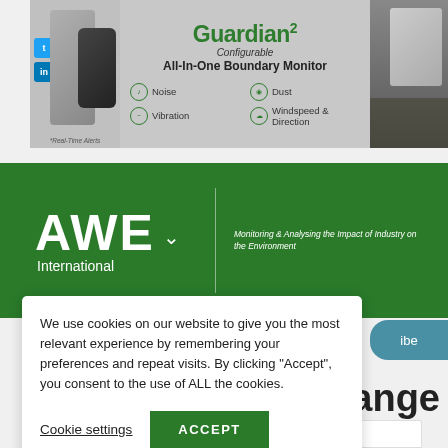[Figure (photo): Guardian2 Configurable All-In-One Boundary Monitor advertisement banner showing monitoring equipment, smartphone, and features: Noise, Dust, Vibration, Windspeed & Direction]
[Figure (logo): AWE International logo on green background with tagline: Monitoring & Analysing the Impact of Industry on the Environment]
We use cookies on our website to give you the most relevant experience by remembering your preferences and repeat visits. By clicking “Accept”, you consent to the use of ALL the cookies.
Cookie settings
ACCEPT
hange